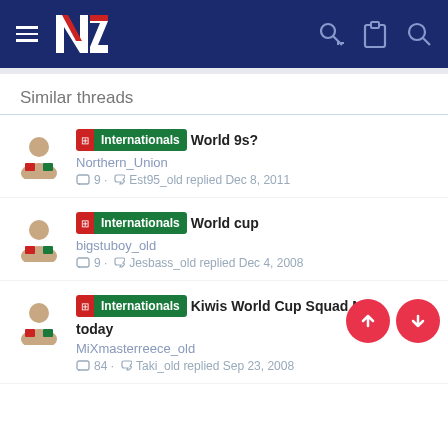NZ Rugby League forum header navigation
Similar threads
Internationals World 9s? — Northern_Union — 9 replies · Est95_old replied Dec 8, 2011
Internationals World cup — bigstuboy_old — 9 replies · Jesbass_old replied Dec 4, 2008
Internationals Kiwis World Cup Squad Named today — MiXmasterreece_old — 84 replies · Taki_old replied Sep 23, 2008